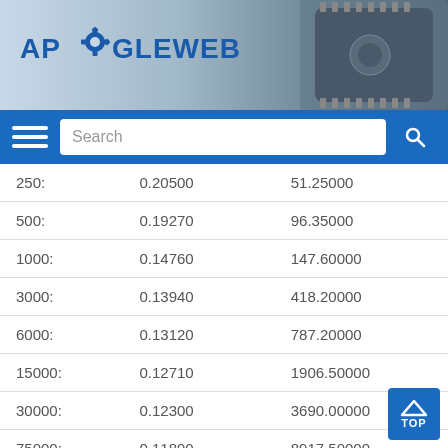[Figure (logo): APOGLEWE B logo with gear icon and microchip background image]
[Figure (screenshot): Navigation bar with hamburger menu, search box, and search button on blue background]
| 250: | 0.20500 | 51.25000 |
| 500: | 0.19270 | 96.35000 |
| 1000: | 0.14760 | 147.60000 |
| 3000: | 0.13940 | 418.20000 |
| 6000: | 0.13120 | 787.20000 |
| 15000: | 0.12710 | 1906.50000 |
| 30000: | 0.12300 | 3690.00000 |
| 75000: | 0.11890 | 8917.50000 |